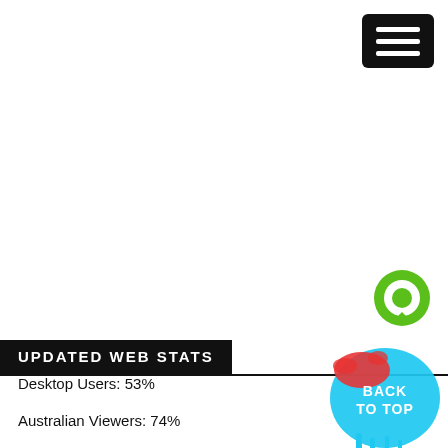[Figure (illustration): Hamburger menu button icon — black rounded rectangle with three white horizontal lines]
[Figure (illustration): Green circular chat bubble icon with white inner circle]
UPDATED WEB STATS
Desktop Users: 53%
Australian Viewers: 74%
Average Session: 1.15 min
Mobile Users: 72% use iPhone
[Figure (illustration): Paint splatter graphic with red and blue ink splashes and text 'BACK TO TOP' in white]